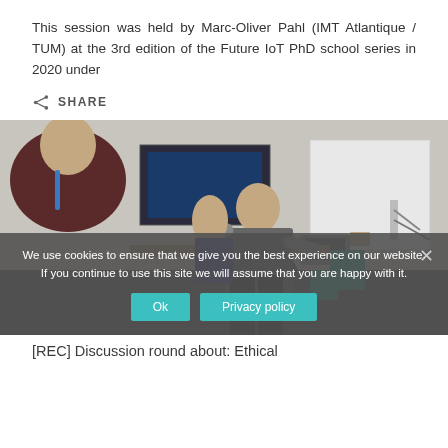This session was held by Marc-Oliver Pahl (IMT Atlantique / TUM) at the 3rd edition of the Future IoT PhD school series in 2020 under
SHARE
[Figure (photo): Photo of a classroom/lab session showing a person standing and presenting, with another person in the foreground, computers and a whiteboard visible in the background.]
We use cookies to ensure that we give you the best experience on our website. If you continue to use this site we will assume that you are happy with it.
[REC] Discussion round about: Ethical